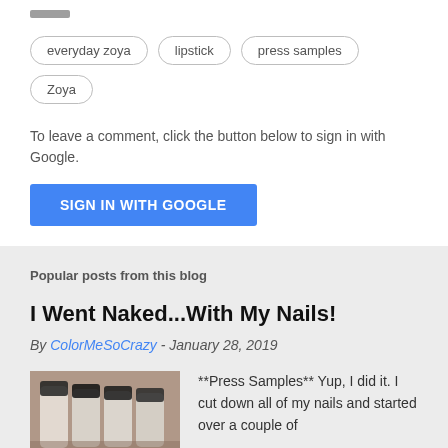everyday zoya
lipstick
press samples
Zoya
To leave a comment, click the button below to sign in with Google.
SIGN IN WITH GOOGLE
Popular posts from this blog
I Went Naked...With My Nails!
By ColorMeSoCrazy - January 28, 2019
[Figure (photo): Photo of nail polish bottles on a surface]
**Press Samples** Yup, I did it. I cut down all of my nails and started over a couple of